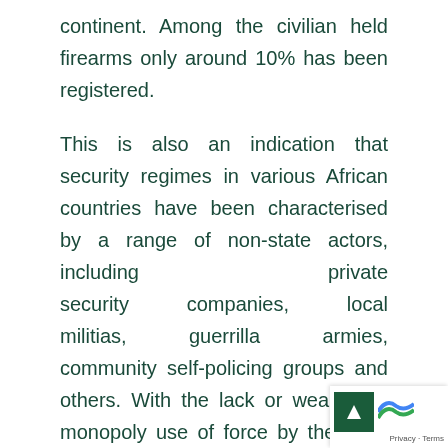continent. Among the civilian held firearms only around 10% has been registered.

This is also an indication that security regimes in various African countries have been characterised by a range of non-state actors, including private security companies, local militias, guerrilla armies, community self-policing groups and others. With the lack or weakening monopoly use of force by the state particularly in countries affected by violence leads to the emergence of